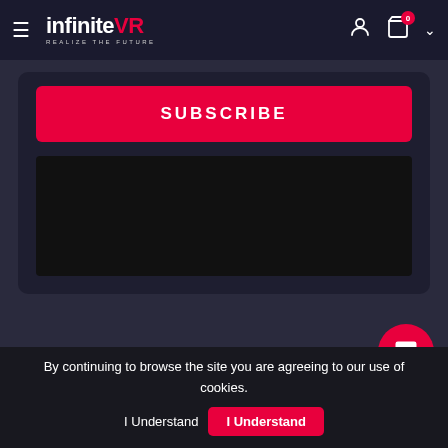infiniteVR REALIZE THE FUTURE
[Figure (screenshot): Subscribe button (pink/magenta) on dark card background]
[Figure (logo): infiniteVR logo in footer area]
[Figure (infographic): Pink circular chat/support button with speech bubble icon]
By continuing to browse the site you are agreeing to our use of cookies.
I Understand